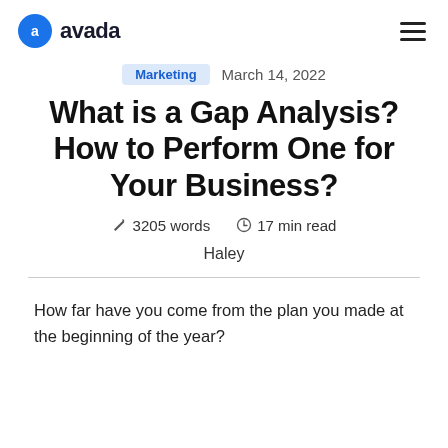avada
Marketing   March 14, 2022
What is a Gap Analysis? How to Perform One for Your Business?
3205 words   17 min read
Haley
How far have you come from the plan you made at the beginning of the year?